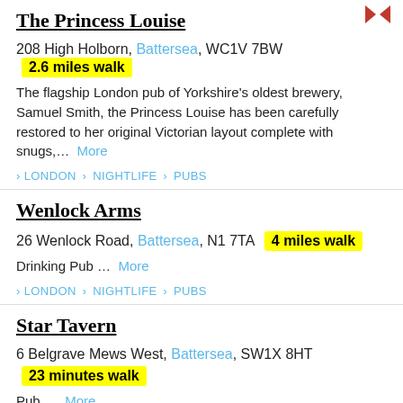The Princess Louise
208 High Holborn, Battersea, WC1V 7BW  2.6 miles walk
The flagship London pub of Yorkshire's oldest brewery, Samuel Smith, the Princess Louise has been carefully restored to her original Victorian layout complete with snugs,... More
LONDON > NIGHTLIFE > PUBS
Wenlock Arms
26 Wenlock Road, Battersea, N1 7TA  4 miles walk
Drinking Pub ... More
LONDON > NIGHTLIFE > PUBS
Star Tavern
6 Belgrave Mews West, Battersea, SW1X 8HT  23 minutes walk
Pub ... More